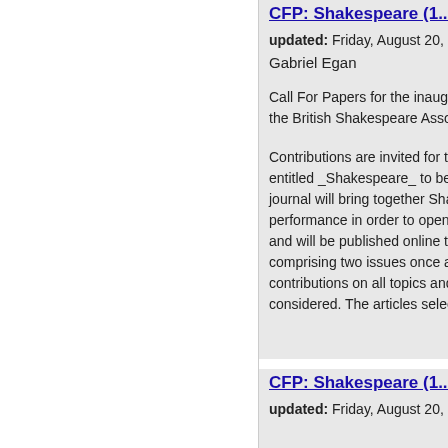CFP: Shakespeare (1...
updated: Friday, August 20,
Gabriel Egan
Call For Papers for the inaugu... the British Shakespeare Asso...
Contributions are invited for t... entitled _Shakespeare_ to be ... journal will bring together Sha... performance in order to open ... and will be published online t... comprising two issues once a... contributions on all topics and... considered. The articles selec...
CFP: Shakespeare (1...
updated: Friday, August 20,